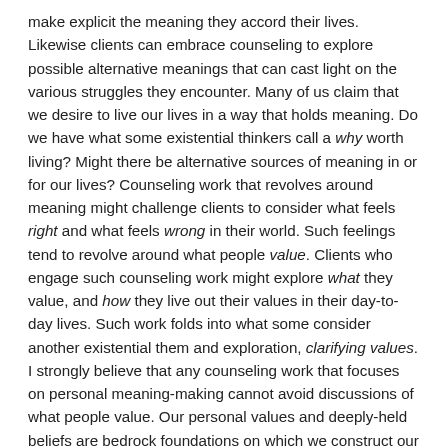make explicit the meaning they accord their lives. Likewise clients can embrace counseling to explore possible alternative meanings that can cast light on the various struggles they encounter. Many of us claim that we desire to live our lives in a way that holds meaning. Do we have what some existential thinkers call a why worth living? Might there be alternative sources of meaning in or for our lives? Counseling work that revolves around meaning might challenge clients to consider what feels right and what feels wrong in their world. Such feelings tend to revolve around what people value. Clients who engage such counseling work might explore what they value, and how they live out their values in their day-to-day lives. Such work folds into what some consider another existential them and exploration, clarifying values. I strongly believe that any counseling work that focuses on personal meaning-making cannot avoid discussions of what people value. Our personal values and deeply-held beliefs are bedrock foundations on which we construct our personal meanings for our lives. Frankl's work, Man's Search for Meaning, struck a deep cord with me that led